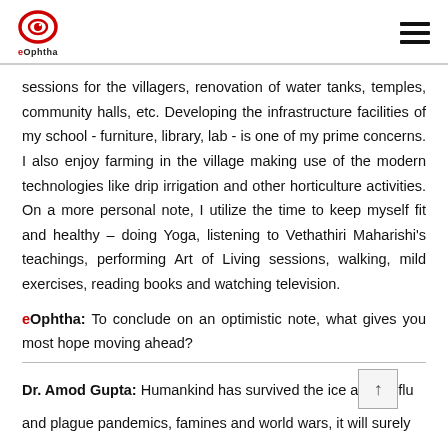eOphtha
sessions for the villagers, renovation of water tanks, temples, community halls, etc. Developing the infrastructure facilities of my school - furniture, library, lab - is one of my prime concerns. I also enjoy farming in the village making use of the modern technologies like drip irrigation and other horticulture activities. On a more personal note, I utilize the time to keep myself fit and healthy – doing Yoga, listening to Vethathiri Maharishi's teachings, performing Art of Living sessions, walking, mild exercises, reading books and watching television.
eOphtha: To conclude on an optimistic note, what gives you most hope moving ahead?
Dr. Amod Gupta: Humankind has survived the ice age, flu and plague pandemics, famines and world wars, it will surely